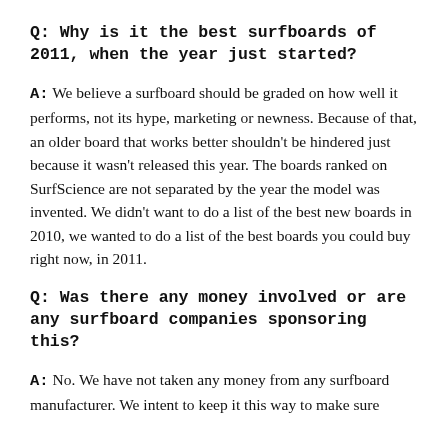Q: Why is it the best surfboards of 2011, when the year just started?
A: We believe a surfboard should be graded on how well it performs, not its hype, marketing or newness. Because of that, an older board that works better shouldn't be hindered just because it wasn't released this year. The boards ranked on SurfScience are not separated by the year the model was invented. We didn't want to do a list of the best new boards in 2010, we wanted to do a list of the best boards you could buy right now, in 2011.
Q: Was there any money involved or are any surfboard companies sponsoring this?
A: No. We have not taken any money from any surfboard manufacturer. We intent to keep it this way to make sure